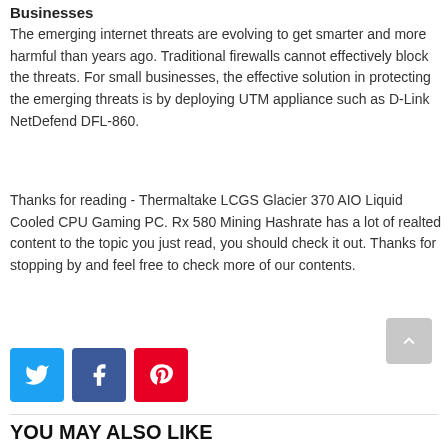Businesses
The emerging internet threats are evolving to get smarter and more harmful than years ago. Traditional firewalls cannot effectively block the threats. For small businesses, the effective solution in protecting the emerging threats is by deploying UTM appliance such as D-Link NetDefend DFL-860.
Thanks for reading - Thermaltake LCGS Glacier 370 AIO Liquid Cooled CPU Gaming PC. Rx 580 Mining Hashrate has a lot of realted content to the topic you just read, you should check it out. Thanks for stopping by and feel free to check more of our contents.
[Figure (infographic): Three social sharing buttons: Twitter (blue), Facebook (dark blue), Pinterest (red) with their respective icons]
YOU MAY ALSO LIKE